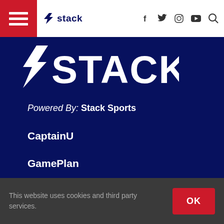[Figure (screenshot): Navigation bar with hamburger menu (red background), Stack logo with lightning bolt, social icons (Facebook, Twitter, Instagram, YouTube), and search icon]
[Figure (logo): Large STACK logo in white on dark navy blue background, stylized lightning bolt followed by 'STACK' text]
Powered By: Stack Sports
CaptainU
GamePlan
Sports Connect
SUBSCRIBE
[Figure (screenshot): Close Ad button overlay and advertisement strip with sports thumbnails and X close button]
This website uses cookies and third party services.